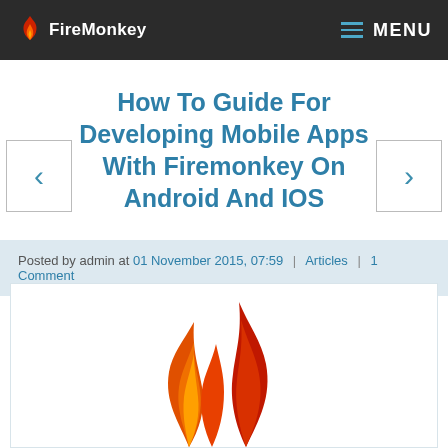FireMonkey | MENU
How To Guide For Developing Mobile Apps With Firemonkey On Android And IOS
Posted by admin at 01 November 2015, 07:59 | Articles | 1 Comment
[Figure (logo): FireMonkey flame logo — red and orange flame shapes on white background]